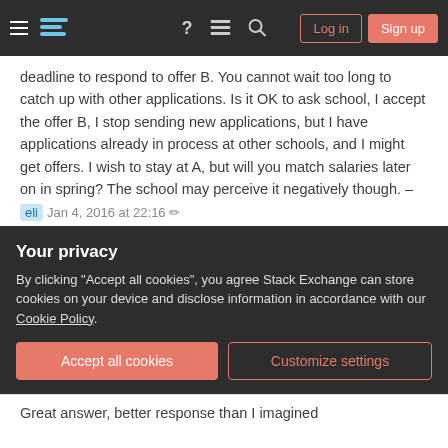Stack Exchange navigation bar with hamburger menu, logo, help, chat, search icons, Log in and Sign up buttons
deadline to respond to offer B. You cannot wait too long to catch up with other applications. Is it OK to ask school, I accept the offer B, I stop sending new applications, but I have applications already in process at other schools, and I might get offers. I wish to stay at A, but will you match salaries later on in spring? The school may perceive it negatively though. – eli Jan 4, 2016 at 22:16
@eli maybe. A deadline can give you leverage since they just told you when they have to have a decision by. So you don't answer, let them call you the next day, explain you've decided you just need $x more a year, and they need a decision pretty much on the spot, and
Your privacy
By clicking "Accept all cookies", you agree Stack Exchange can store cookies on your device and disclose information in accordance with our Cookie Policy.
Accept all cookies   Customize settings
Great answer, better response than I imagined